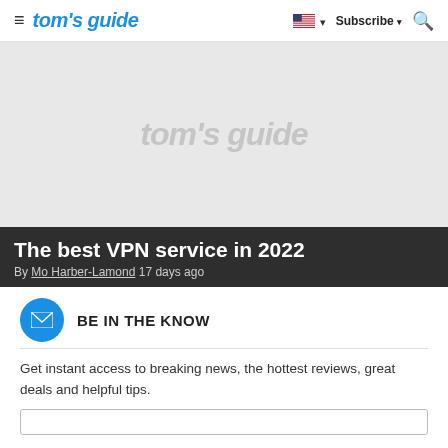tom's guide — Subscribe
[Figure (illustration): Tom's Guide hero image placeholder with light gray background and watermark logo text 'tom's guide']
The best VPN service in 2022
By Mo Harber-Lamond 17 days ago
BE IN THE KNOW
Get instant access to breaking news, the hottest reviews, great deals and helpful tips.